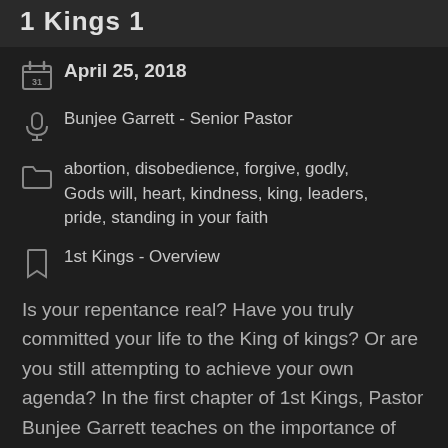1 Kings 1
April 25, 2018
Bunjee Garrett - Senior Pastor
abortion, disobedience, forgive, godly, Gods will, heart, kindness, king, leaders, pride, standing in your faith
1st Kings - Overview
Is your repentance real? Have you truly committed your life to the King of kings? Or are you still attempting to achieve your own agenda? In the first chapter of 1st Kings, Pastor Bunjee Garrett teaches on the importance of becoming believers who are living in